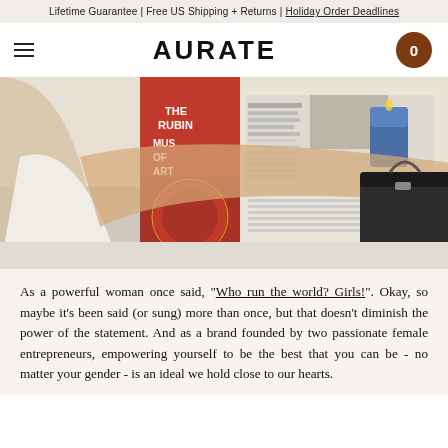Lifetime Guarantee | Free US Shipping + Returns | Holiday Order Deadlines
AURATE
[Figure (photo): A woman seen from behind, wearing a white shirt and gold bracelet, reading a large newspaper. In the background there is a red book with 'THE RUBIN MUSEUM OF ART' on the cover, a blue candle, and a dark leather handbag.]
As a powerful woman once said, "Who run the world? Girls!". Okay, so maybe it's been said (or sung) more than once, but that doesn't diminish the power of the statement. And as a brand founded by two passionate female entrepreneurs, empowering yourself to be the best that you can be - no matter your gender - is an ideal we hold close to our hearts.